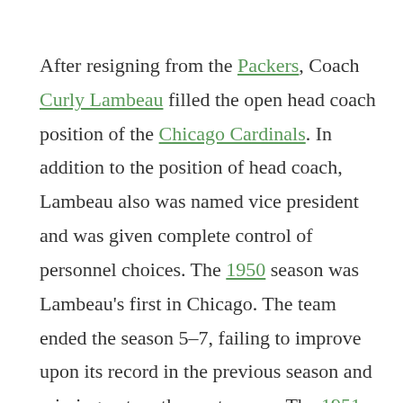After resigning from the Packers, Coach Curly Lambeau filled the open head coach position of the Chicago Cardinals. In addition to the position of head coach, Lambeau also was named vice president and was given complete control of personnel choices. The 1950 season was Lambeau's first in Chicago. The team ended the season 5–7, failing to improve upon its record in the previous season and missing out on the postseason. The 1951 season went even worse for Lambeau and the Cardinals; the team ended the season 3–9 and again failed to reach the postseason